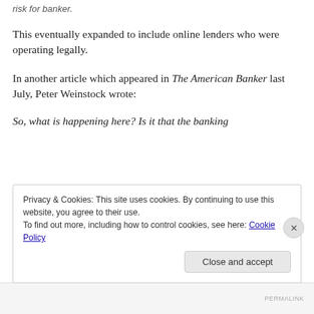risk for banker.
This eventually expanded to include online lenders who were operating legally.
In another article which appeared in The American Banker last July, Peter Weinstock wrote:
So, what is happening here? Is it that the banking
Privacy & Cookies: This site uses cookies. By continuing to use this website, you agree to their use.
To find out more, including how to control cookies, see here: Cookie Policy
PERMALINK